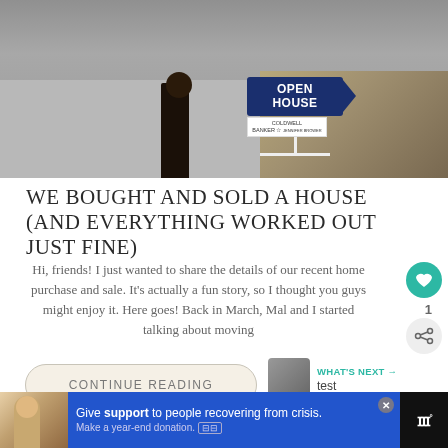[Figure (photo): Person standing next to an Open House sign (Coldwell Banker) on a roadside with rocks and fallen leaves in the background]
WE BOUGHT AND SOLD A HOUSE (AND EVERYTHING WORKED OUT JUST FINE)
Hi, friends! I just wanted to share the details of our recent home purchase and sale. It's actually a fun story, so I thought you guys might enjoy it. Here goes! Back in March, Mal and I started talking about moving
CONTINUE READING
WHAT'S NEXT → test
Give support to people recovering from crisis. Make a year-end donation.